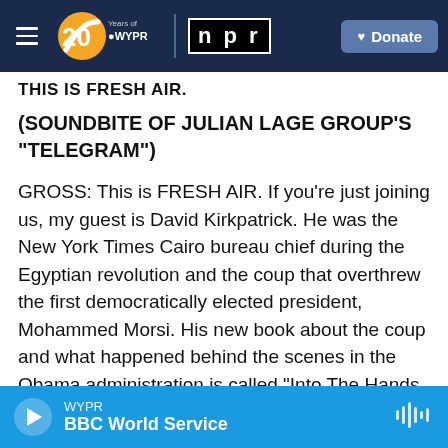WYPR 20 Years of WYPR | NPR | Donate
THIS IS FRESH AIR.
(SOUNDBITE OF JULIAN LAGE GROUP'S "TELEGRAM")
GROSS: This is FRESH AIR. If you're just joining us, my guest is David Kirkpatrick. He was the New York Times Cairo bureau chief during the Egyptian revolution and the coup that overthrew the first democratically elected president, Mohammed Morsi. His new book about the coup and what happened behind the scenes in the Obama administration is called "Into The Hands Of The Soldiers: Freedom And Chaos In Egypt And The
WYPR
BBC World Service